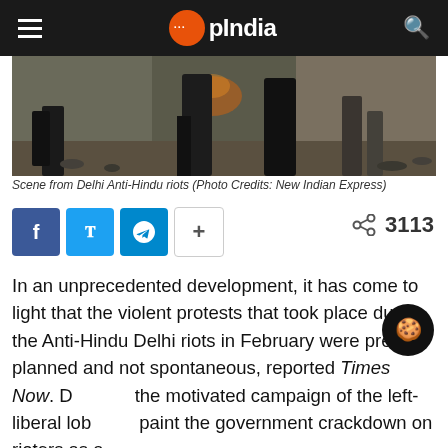OpIndia
[Figure (photo): Scene from Delhi Anti-Hindu riots showing dark silhouettes of people walking amid debris and rubble]
Scene from Delhi Anti-Hindu riots (Photo Credits: New Indian Express)
In an unprecedented development, it has come to light that the violent protests that took place during the Anti-Hindu Delhi riots in February were pre-planned and not spontaneous, reported Times Now. Despite the motivated campaign of the left-liberal lobby to paint the government crackdown on rioters as a